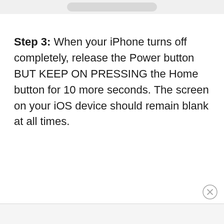[Figure (other): Top navigation or header bar with a rounded pill/button element centered on a light gray background]
Step 3: When your iPhone turns off completely, release the Power button BUT KEEP ON PRESSING the Home button for 10 more seconds. The screen on your iOS device should remain blank at all times.
[Figure (other): Close button (X in a circle) in the bottom-right corner]